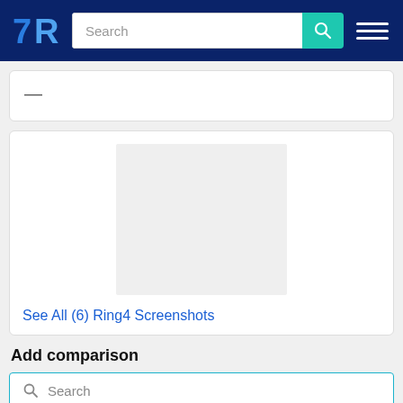[Figure (screenshot): TrustRadius website navigation bar with logo, search bar, and hamburger menu on dark blue background]
—
[Figure (screenshot): Screenshot card showing a grey placeholder image for Ring4 screenshots]
See All (6) Ring4 Screenshots
Add comparison
Search
[Figure (logo): eVoice logo - teal green square with white text 'eVoice']
eVoice